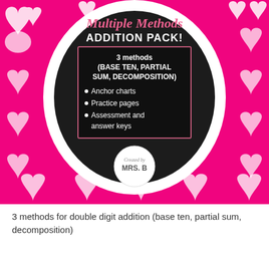[Figure (illustration): Educational product cover image for 'Multiple Methods Addition Pack' on a hot pink background with white heart pattern. A large black oval in the center contains the title in pink script 'Multiple Methods' and bold white text 'ADDITION PACK!'. Inside a pink-bordered box: '3 methods (BASE TEN, PARTIAL SUM, DECOMPOSITION)' with bullet points: Anchor charts, Practice pages, Assessment and answer keys. A circular badge at the bottom reads 'Created by MRS. B'.]
3 methods for double digit addition (base ten, partial sum, decomposition)